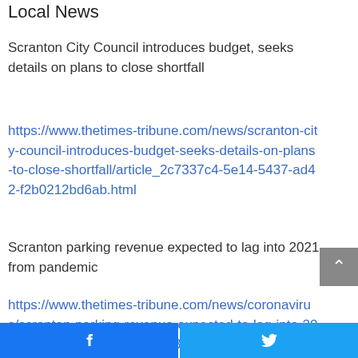Local News
Scranton City Council introduces budget, seeks details on plans to close shortfall
https://www.thetimes-tribune.com/news/scranton-city-council-introduces-budget-seeks-details-on-plans-to-close-shortfall/article_2c7337c4-5e14-5437-ad42-f2b0212bd6ab.html
Scranton parking revenue expected to lag into 2021 from pandemic
https://www.thetimes-tribune.com/news/coronavirus/scranton-parking-revenue-expected-to-lag-into-2021-from-pandemic/article  83d20e36-eb13-5357-bd79-